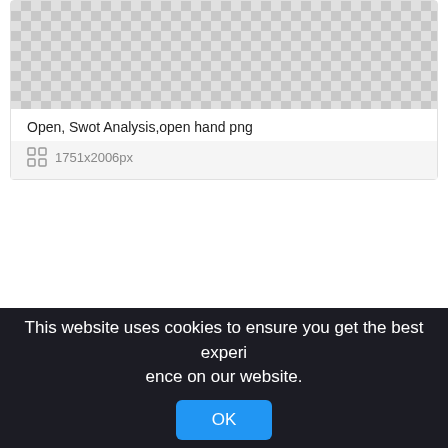[Figure (photo): Checkerboard transparent background placeholder for an image (top card)]
Open, Swot Analysis,open hand png
1751x2006px
[Figure (photo): Checkerboard transparent background placeholder for a second image (bottom card)]
This website uses cookies to ensure you get the best experience on our website.